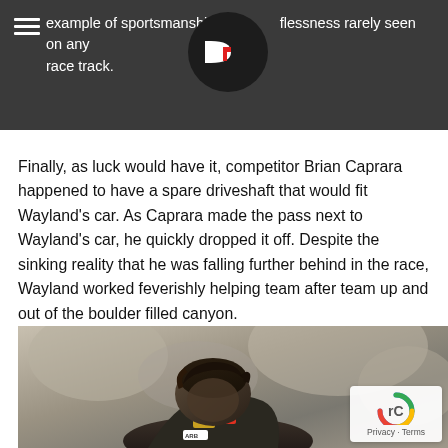example of sportsmanship and selflessness rarely seen on any race track.
Finally, as luck would have it, competitor Brian Caprara happened to have a spare driveshaft that would fit Wayland's car. As Caprara made the pass next to Wayland's car, he quickly dropped it off. Despite the sinking reality that he was falling further behind in the race, Wayland worked feverishly helping team after team up and out of the boulder filled canyon.
[Figure (photo): A young male racer with dark hair, wearing racing gear with sponsor logos including ARB, leaning forward over rocky terrain in a boulder-filled canyon.]